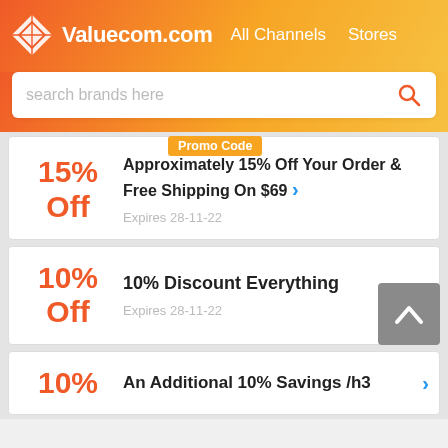Valuecom.com  All Channels  Stores
search brands here
Promo Code
15% Off
Approximately 15% Off Your Order & Free Shipping On $69
Expires 28-11-22
10% Off
10% Discount Everything
Expires 28-11-22
10%
An Additional 10% Savings /h3